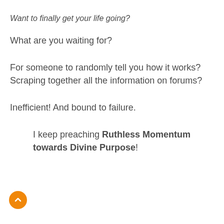Want to finally get your life going?
What are you waiting for?
For someone to randomly tell you how it works? Scraping together all the information on forums?
Inefficient! And bound to failure.
I keep preaching Ruthless Momentum towards Divine Purpose!